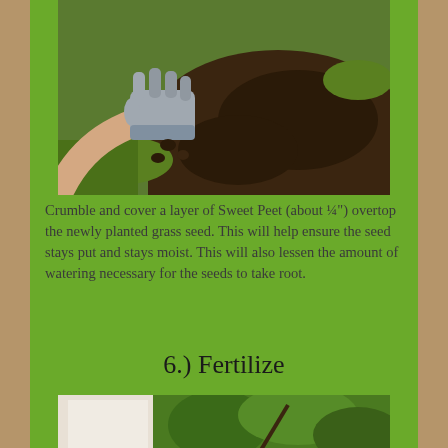[Figure (photo): A gloved hand crumbling dark compost/Sweet Peet mulch over bare soil with grass in the background]
Crumble and cover a layer of Sweet Peet (about ¼") overtop the newly planted grass seed.  This will help ensure the seed stays put and stays moist.  This will also lessen the amount of watering necessary for the seeds to take root.
6.) Fertilize
[Figure (photo): Person standing outdoors near shrubs, partially visible, bottom portion of image cut off]